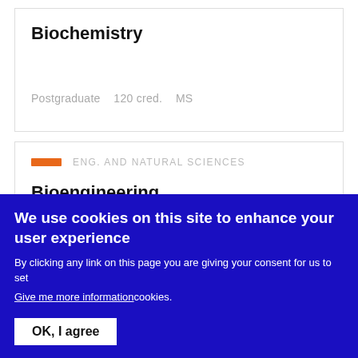Biochemistry
Postgraduate   120 cred.   MS
ENG. AND NATURAL SCIENCES
Bioengineering
We use cookies on this site to enhance your user experience
By clicking any link on this page you are giving your consent for us to set
Give me more information cookies.
OK, I agree